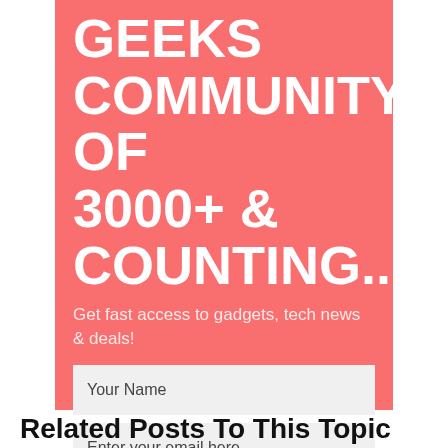GEEKS COMMUNITY OF 3000+ & COUNTING..
Get fast access to gadgets, tech news & deals!
Your Name
Enter your email here
COUNT ME IN
We respect your privacy and take protecting it seriously
Related Posts To This Topic